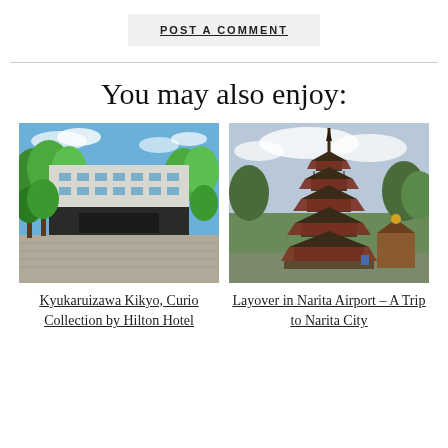POST A COMMENT
[Figure (photo): Modern hotel building exterior surrounded by green trees under blue sky — Kyukaruizawa Kikyo, Curio Collection by Hilton Hotel]
Kyukaruizawa Kikyo, Curio Collection by Hilton Hotel
[Figure (photo): Traditional Japanese five-story pagoda with red accents at Narita City, under a cloudy sky]
Layover in Narita Airport – A Trip to Narita City
You may also enjoy: